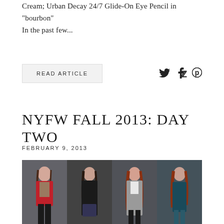Cream; Urban Decay 24/7 Glide-On Eye Pencil in "bourbon" In the past few...
READ ARTICLE
NYFW FALL 2013: DAY TWO
FEBRUARY 9, 2013
[Figure (photo): Four female models in fashion outfits against a grey background. From left: model in red blazer with floral top and black pants; model in black long coat with sparkle skirt; model in silver metallic long blazer with black pants; model in dark teal strapless mini dress.]